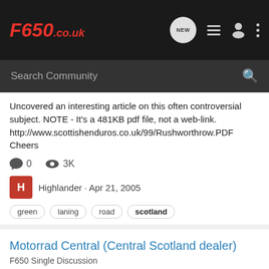F650.co.uk
Uncovered an interesting article on this often controversial subject. NOTE - It's a 481KB pdf file, not a web-link. http://www.scottishenduros.co.uk/99/Rushworthrow.PDF Cheers
0  3K
Highlander · Apr 21, 2005
green  laning  road  scotland
Motorrad Central (Central Scotland dealer)
F650 Single Discussion
Opinions of others? So far I'm impressed. Have my bike in with them at the moment. It hadn't taken the several weeks